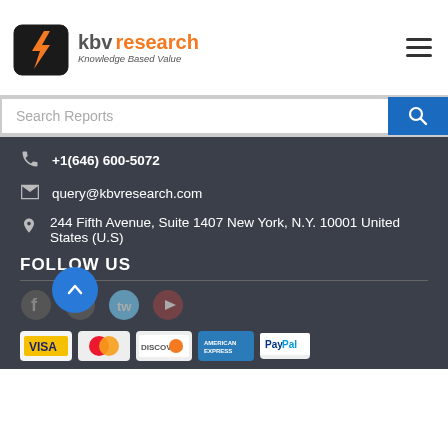[Figure (logo): KBV Research logo with orange lightning bolt and text 'kbv research Knowledge Based Value']
Search Reports
+1(646) 600-5072
query@kbvresearch.com
244 Fifth Avenue, Suite 1407 New York, N.Y. 10001 United States (U.S)
FOLLOW US
[Figure (illustration): Social media icons: Facebook, LinkedIn, Twitter, YouTube]
[Figure (illustration): Payment method logos: Visa, MasterCard, Discover, American Express, PayPal]